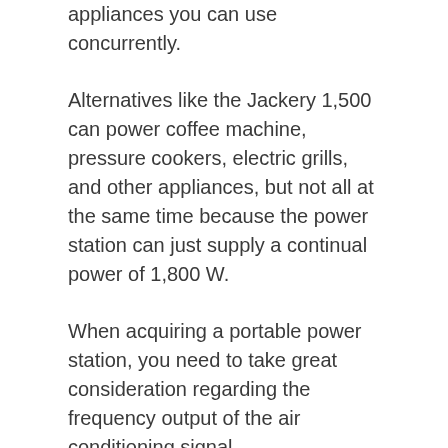appliances you can use concurrently.
Alternatives like the Jackery 1,500 can power coffee machine, pressure cookers, electric grills, and other appliances, but not all at the same time because the power station can just supply a continual power of 1,800 W.
When acquiring a portable power station, you need to take great consideration regarding the frequency output of the air conditioning signal.
It is important to choose a power station with a result regularity of 60Hz to make use of normal home appliances because some designs could work at 50Hz and also this frequency is rated for appliances in other countries.